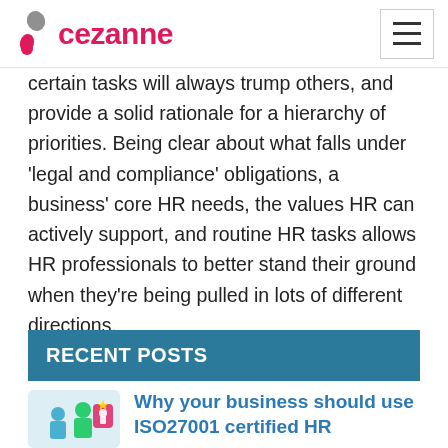Cezanne HR
certain tasks will always trump others, and provide a solid rationale for a hierarchy of priorities. Being clear about what falls under ‘legal and compliance’ obligations, a business’ core HR needs, the values HR can actively support, and routine HR tasks allows HR professionals to better stand their ground when they’re being pulled in lots of different directions.
RECENT POSTS
Why your business should use ISO27001 certified HR